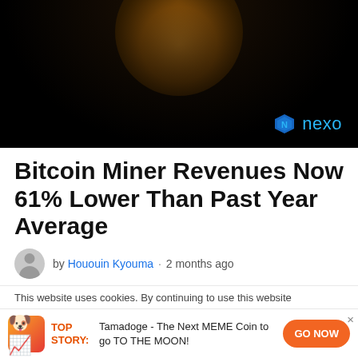[Figure (photo): Dark hero image showing a Bitcoin coin glowing with orange/amber light from above, with a Nexo logo (blue diamond icon and 'nexo' text in light blue) in the lower right corner.]
Bitcoin Miner Revenues Now 61% Lower Than Past Year Average
by Hououin Kyouma · 2 months ago
This website uses cookies. By continuing to use this website
TOP STORY: Tamadoge - The Next MEME Coin to go TO THE MOON!